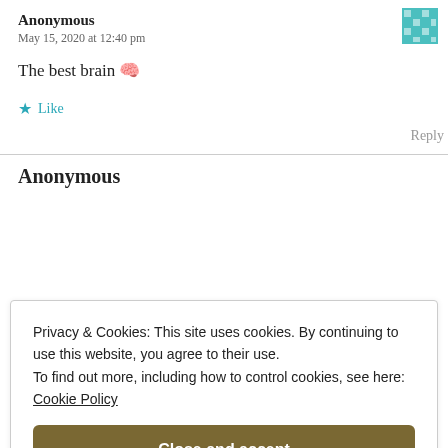Anonymous
May 15, 2020 at 12:40 pm
The best brain 🧠
★ Like
Reply
Anonymous
Privacy & Cookies: This site uses cookies. By continuing to use this website, you agree to their use.
To find out more, including how to control cookies, see here:
Cookie Policy
Close and accept